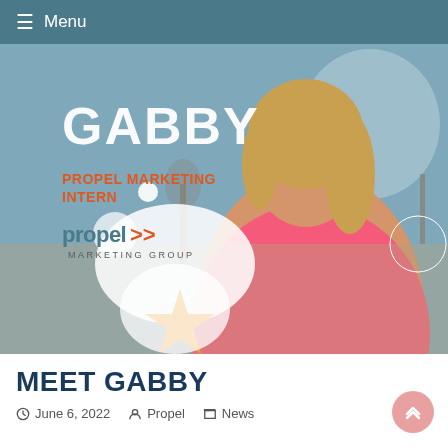≡ Menu
[Figure (photo): Promotional graphic showing a young blonde woman in a pink top smiling outdoors, with text 'GABBY', 'PROPEL MARKETING INTERN', Propel Marketing Group logo, decorative circles and an orange star shape on a light blue background.]
MEET GABBY
June 6, 2022  Propel  News